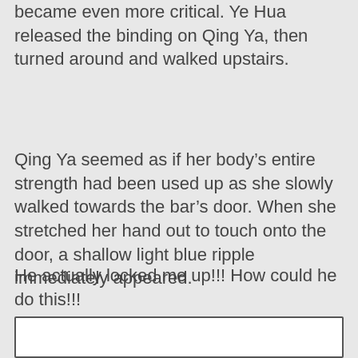became even more critical. Ye Hua released the binding on Qing Ya, then turned around and walked upstairs.
Qing Ya seemed as if her body’s entire strength had been used up as she slowly walked towards the bar’s door. When she stretched her hand out to touch onto the door, a shallow light blue ripple immediately appeared.
He actually locked me up!!! How could he do this!!!